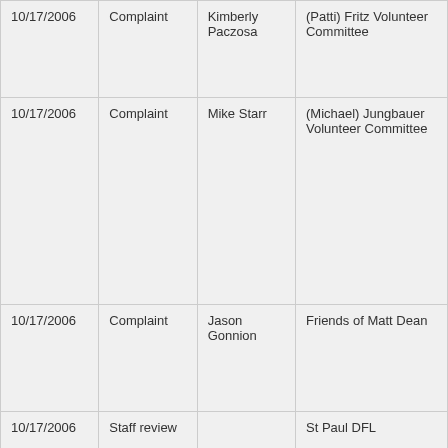| 10/17/2006 | Complaint | Kimberly Paczosa | (Patti) Fritz Volunteer Committee |
| 10/17/2006 | Complaint | Mike Starr | (Michael) Jungbauer Volunteer Committee |
| 10/17/2006 | Complaint | Jason Gonnion | Friends of Matt Dean |
| 10/17/2006 | Staff review |  | St Paul DFL |